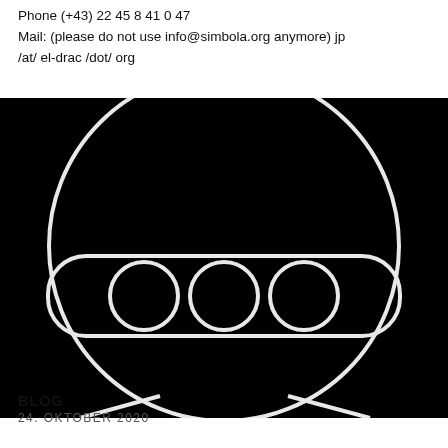Phone (+43) 22 45 8 41 0 47
Mail: (please do not use info@simbola.org anymore) jp /at/ el-drac /dot/ org
[Figure (illustration): Black background illustration of a robot or android face/head — a large circle outline forming the head, a wide rounded rectangle (visor/bar) across the middle with three circular eye-like holes, and two diagonal lines at the bottom suggesting a body or neck, all drawn with white outlines on black.]
BLOG
24. OKTOBER 2020